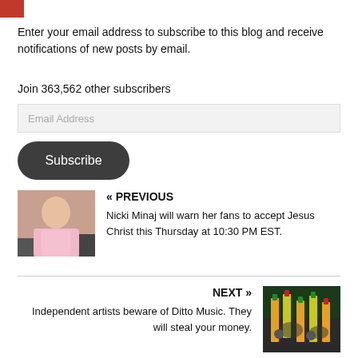Enter your email address to subscribe to this blog and receive notifications of new posts by email.
Join 363,562 other subscribers
Email Address
Subscribe
« PREVIOUS
Nicki Minaj will warn her fans to accept Jesus Christ this Thursday at 10:30 PM EST.
[Figure (photo): Photo of Nicki Minaj in pink dress at an event]
NEXT »
Independent artists beware of Ditto Music. They will steal your money.
[Figure (photo): Photo of people waving colorful flags at a concert or event]
RELATED ARTICLES